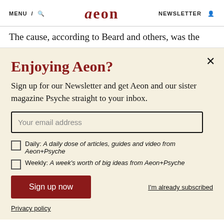MENU / [search icon] aeon NEWSLETTER [person icon]
The cause, according to Beard and others, was the
Enjoying Aeon?
Sign up for our Newsletter and get Aeon and our sister magazine Psyche straight to your inbox.
Your email address
Daily: A daily dose of articles, guides and video from Aeon+Psyche
Weekly: A week's worth of big ideas from Aeon+Psyche
Sign up now
I'm already subscribed
Privacy policy